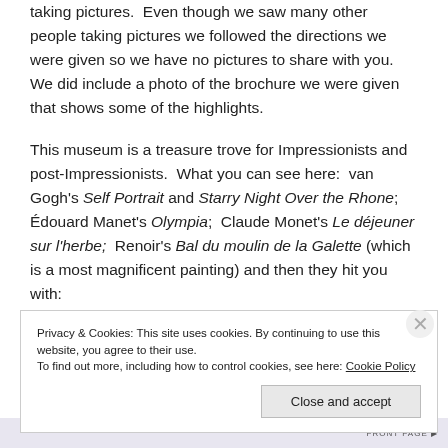taking pictures.  Even though we saw many other people taking pictures we followed the directions we were given so we have no pictures to share with you.  We did include a photo of the brochure we were given that shows some of the highlights.
This museum is a treasure trove for Impressionists and post-Impressionists.  What you can see here:  van Gogh's Self Portrait and Starry Night Over the Rhone;  Édouard Manet's Olympia;  Claude Monet's Le déjeuner sur l'herbe;  Renoir's Bal du moulin de la Galette (which is a most magnificent painting) and then they hit you with:
Privacy & Cookies: This site uses cookies. By continuing to use this website, you agree to their use. To find out more, including how to control cookies, see here: Cookie Policy
Close and accept